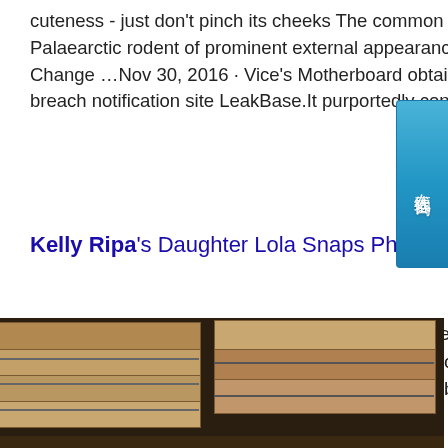cuteness - just don't pinch its cheeks The common hamster Cricetus cricetus (Linnaeus, 1758) is a widespread Palaearctic rodent of prominent external appearance.sp.info Have an xHamster Account? You Might Want to Change …Nov 30, 2016 · Vice's Motherboard obtained a copy of the database in question from subscription breach notification site LeakBase.It purportedly contains the xHamster account details of nearly 380,000 users ...
Kelly Ripa's Daughter Lola Snaps Photo of Her Mom in ...
Kelly Ripa is having some fun under the sun! The Live with Kelly and Ryan co-host posted a stunning photo to her Instagram on Tuesday of herself wearing a white bikini and a white embroidered
[Figure (photo): Stacked metal sheets or slabs in a warehouse, bound with metal straps, dark industrial setting]